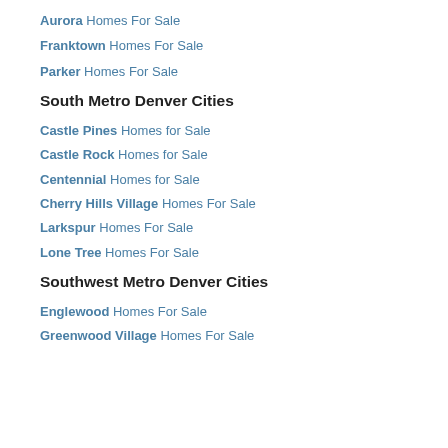Aurora Homes For Sale
Franktown Homes For Sale
Parker Homes For Sale
South Metro Denver Cities
Castle Pines Homes for Sale
Castle Rock Homes for Sale
Centennial Homes for Sale
Cherry Hills Village Homes For Sale
Larkspur Homes For Sale
Lone Tree Homes For Sale
Southwest Metro Denver Cities
Englewood Homes For Sale
Greenwood Village Homes For Sale